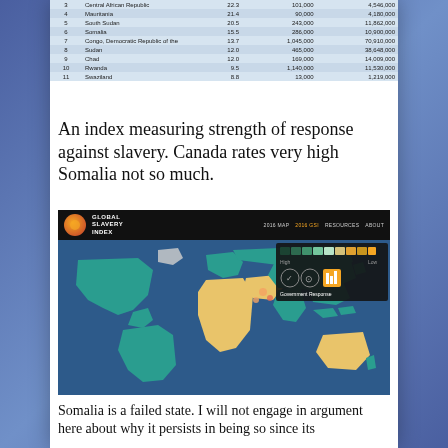| # | Country | Score | Slaves | Population |
| --- | --- | --- | --- | --- |
| 3 | Central African Republic | 22.3 | 101,000 | 4,546,000 |
| 4 | Mauritania | 21.4 | 90,000 | 4,180,000 |
| 5 | South Sudan | 20.5 | 243,000 | 11,862,000 |
| 6 | Somalia | 15.5 | 286,000 | 10,900,000 |
| 7 | Congo, Democratic Republic of the | 13.7 | 1,045,000 | 70,910,000 |
| 8 | Sudan | 12.0 | 465,000 | 38,648,000 |
| 9 | Chad | 12.0 | 169,000 | 14,009,000 |
| 10 | Rwanda | 9.5 | 1,140,000 | 11,530,000 |
| 11 | Swaziland | 8.8 | 13,000 | 1,219,000 |
An index measuring strength of response against slavery. Canada rates very high Somalia not so much.
[Figure (map): Global Slavery Index website screenshot showing a world map with government response scores. Countries colored from dark teal (high response) to yellow (low response). Navigation bar with logo, '2016 MAP', '2016 GSI' (highlighted in orange), 'RESOURCES', 'ABOUT'. Legend shows color gradient and Government Response icons.]
Somalia is a failed state. I will not engage in argument here about why it persists in being so since its